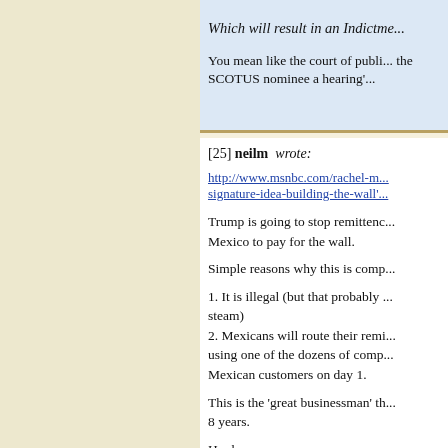Which will result in an Indictme...
You mean like the court of publi... the SCOTUS nominee a hearing'...
[25] neilm wrote:
http://www.msnbc.com/rachel-m... signature-idea-building-the-wall'...
Trump is going to stop remittenc... Mexico to pay for the wall.
Simple reasons why this is comp...
1. It is illegal (but that probably ... steam)
2. Mexicans will route their remi... using one of the dozens of comp... Mexican customers on day 1.
This is the 'great businessman' th... 8 years.
Har har.